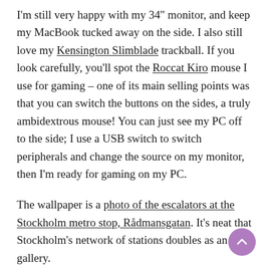I'm still very happy with my 34" monitor, and keep my MacBook tucked away on the side. I also still love my Kensington Slimblade trackball. If you look carefully, you'll spot the Roccat Kiro mouse I use for gaming – one of its main selling points was that you can switch the buttons on the sides, a truly ambidextrous mouse! You can just see my PC off to the side; I use a USB switch to switch peripherals and change the source on my monitor, then I'm ready for gaming on my PC.
The wallpaper is a photo of the escalators at the Stockholm metro stop, Rådmansgatan. It's neat that Stockholm's network of stations doubles as an art gallery.